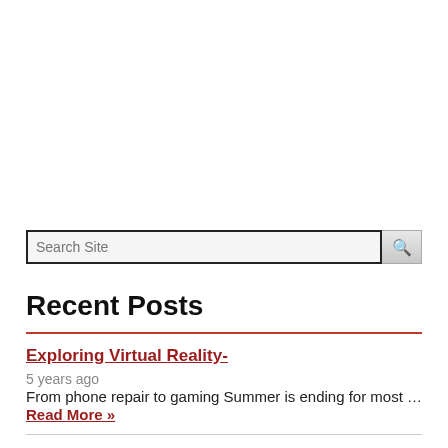Search Site
Recent Posts
Exploring Virtual Reality-
5 years ago
From phone repair to gaming Summer is ending for most … Read More »
Lawrence County native comes home to celebrate 200
5 years ago